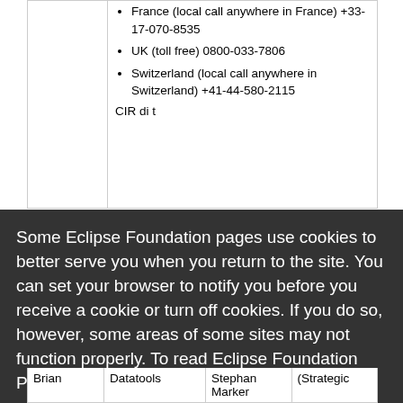France (local call anywhere in France) +33-17-070-8535
UK (toll free) 0800-033-7806
Switzerland (local call anywhere in Switzerland) +41-44-580-2115
Some Eclipse Foundation pages use cookies to better serve you when you return to the site. You can set your browser to notify you before you receive a cookie or turn off cookies. If you do so, however, some areas of some sites may not function properly. To read Eclipse Foundation Privacy Policy click here.
Decline
Allow cookies
| Brian | Datatools | Stephan Marker | (Strategic |
| --- | --- | --- | --- |